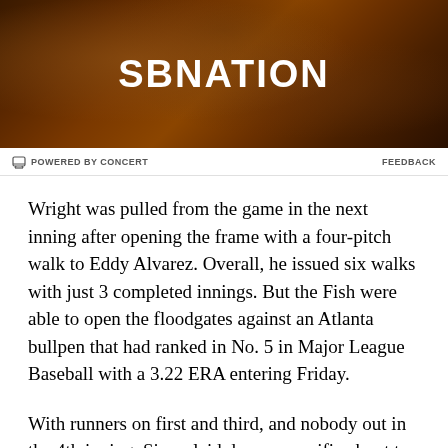[Figure (photo): A dark cast iron skillet with grilled/cooked meat, viewed from above. The SBNation logo is overlaid in white bold text in the center.]
POWERED BY CONCERT   FEEDBACK
Wright was pulled from the game in the next inning after opening the frame with a four-pitch walk to Eddy Alvarez. Overall, he issued six walks with just 3 completed innings. But the Fish were able to open the floodgates against an Atlanta bullpen that had ranked in No. 5 in Major League Baseball with a 3.22 ERA entering Friday.
With runners on first and third, and nobody out in the 4th inning, Sierra laid down a sacrifice bunt to try scoring Alvarez from third base. But when third baseman Johan Camargo looked like he was going to throw home, Alvarez retreated. Then, when he